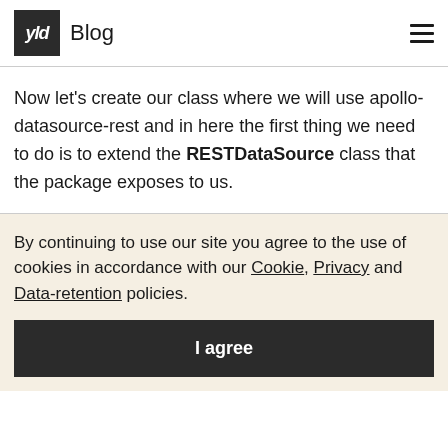yld Blog
Now let’s create our class where we will use apollo-datasource-rest and in here the first thing we need to do is to extend the RESTDataSource class that the package exposes to us.
By continuing to use our site you agree to the use of cookies in accordance with our Cookie, Privacy and Data-retention policies.
I agree